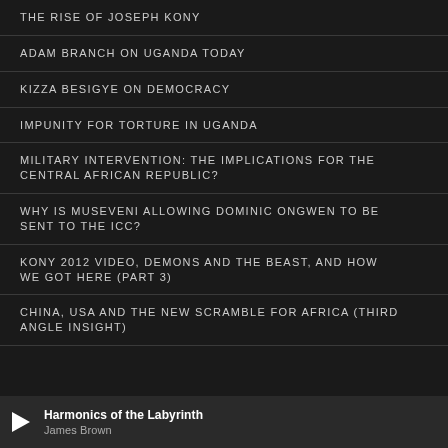THE RISE OF JOSEPH KONY
ADAM BRANCH ON UGANDA TODAY
KIZZA BESIGYE ON DEMOCRACY
IMPUNITY FOR TORTURE IN UGANDA
MILITARY INTERVENTION: THE IMPLICATIONS FOR THE CENTRAL AFRICAN REPUBLIC?
WHY IS MUSEVENI ALLOWING DOMINIC ONGWEN TO BE SENT TO THE ICC?
KONY 2012 VIDEO, DEMONS AND THE BEAST, AND HOW WE GOT HERE (PART 3)
CHINA, USA AND THE NEW SCRAMBLE FOR AFRICA (THIRD ANGLE INSIGHT)
Harmonics of the Labyrinth — James Brown